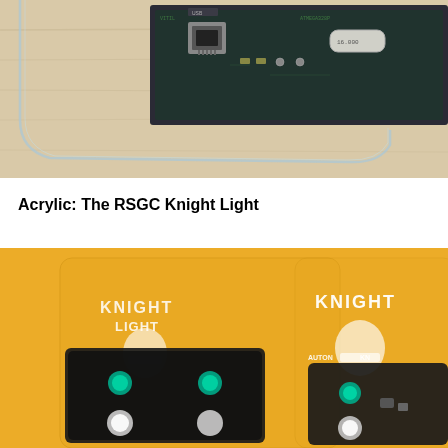[Figure (photo): Close-up photo of a circuit board showing a USB connector and crystal oscillator on a light wooden surface, with a bent acrylic sheet in the foreground.]
Acrylic: The RSGC Knight Light
[Figure (photo): Photo of two RSGC Knight Light devices displayed against an orange/yellow background. Each device has a black circuit board with teal/green LEDs and white LEDs, mounted on an acrylic backing printed with 'KNIGHT LIGHT' and a knight chess piece logo.]